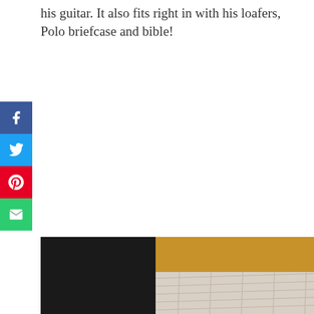his guitar. It also fits right in with his loafers, Polo briefcase and bible!
[Figure (photo): Close-up photo of a guitar showing the body and strings, with dark background on the left and warm wooden tones on the right]
[Figure (infographic): Vertical social media sharing bar on the left side with Facebook (blue), Twitter (light blue), Pinterest (red), and Email (green) buttons]